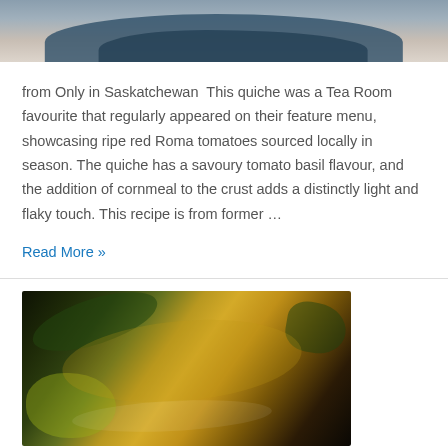[Figure (photo): Partial view of a food dish on a dark plate, cropped at top of page]
from Only in Saskatchewan  This quiche was a Tea Room favourite that regularly appeared on their feature menu, showcasing ripe red Roma tomatoes sourced locally in season. The quiche has a savoury tomato basil flavour, and the addition of cornmeal to the crust adds a distinctly light and flaky touch. This recipe is from former …
Read More »
[Figure (photo): Close-up photo of a grilled corn on the cob with herbs and lime wedges on a dark surface]